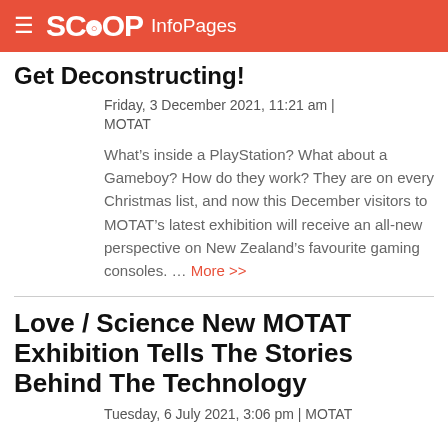SCOOP InfoPages
Get Deconstructing!
Friday, 3 December 2021, 11:21 am | MOTAT
What’s inside a PlayStation? What about a Gameboy? How do they work? They are on every Christmas list, and now this December visitors to MOTAT’s latest exhibition will receive an all-new perspective on New Zealand’s favourite gaming consoles. … More >>
Love / Science New MOTAT Exhibition Tells The Stories Behind The Technology
Tuesday, 6 July 2021, 3:06 pm | MOTAT